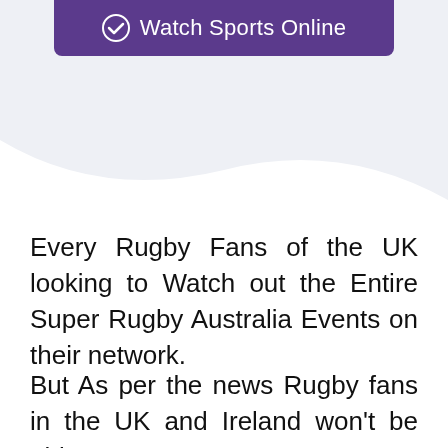[Figure (other): Purple banner button with checkmark icon and text 'Watch Sports Online']
Every Rugby Fans of the UK looking to Watch out the Entire Super Rugby Australia Events on their network.
But As per the news Rugby fans in the UK and Ireland won't be able